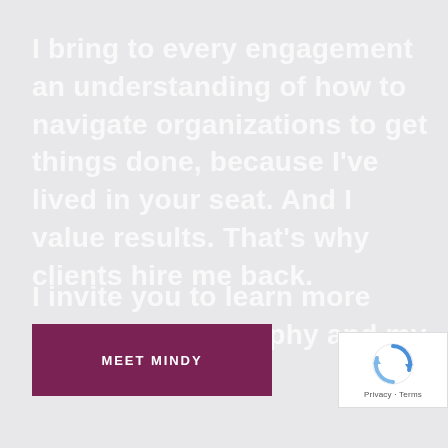I bring to every engagement an understanding of how to navigate organizations to get things done, because I've lived in your seat. And I value results. That's why clients hire me back.
I invite you to learn more about my philosophy and my approach.
MEET MINDY
[Figure (logo): reCAPTCHA badge with spinning arrows icon and Privacy - Terms text]